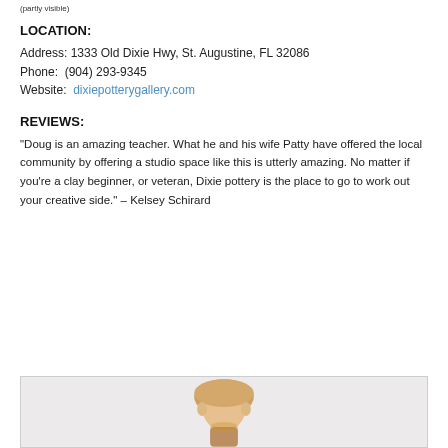(partial top text)
LOCATION:
Address: 1333 Old Dixie Hwy, St. Augustine, FL 32086
Phone: (904) 293-9345
Website: dixiepotterygallery.com
REVIEWS:
"Doug is an amazing teacher. What he and his wife Patty have offered the local community by offering a studio space like this is utterly amazing. No matter if you’re a clay beginner, or veteran, Dixie pottery is the place to go to work out your creative side." – Kelsey Schirard
[Figure (photo): Photo of a person (partially visible at bottom of page)]